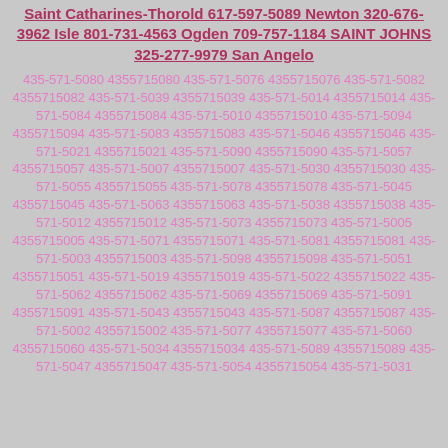Saint Catharines-Thorold 617-597-5089 Newton 320-676-3962 Isle 801-731-4563 Ogden 709-757-1184 SAINT JOHNS 325-277-9979 San Angelo
435-571-5080 4355715080 435-571-5076 4355715076 435-571-5082 4355715082 435-571-5039 4355715039 435-571-5014 4355715014 435-571-5084 4355715084 435-571-5010 4355715010 435-571-5094 4355715094 435-571-5083 4355715083 435-571-5046 4355715046 435-571-5021 4355715021 435-571-5090 4355715090 435-571-5057 4355715057 435-571-5007 4355715007 435-571-5030 4355715030 435-571-5055 4355715055 435-571-5078 4355715078 435-571-5045 4355715045 435-571-5063 4355715063 435-571-5038 4355715038 435-571-5012 4355715012 435-571-5073 4355715073 435-571-5005 4355715005 435-571-5071 4355715071 435-571-5081 4355715081 435-571-5003 4355715003 435-571-5098 4355715098 435-571-5051 4355715051 435-571-5019 4355715019 435-571-5022 4355715022 435-571-5062 4355715062 435-571-5069 4355715069 435-571-5091 4355715091 435-571-5043 4355715043 435-571-5087 4355715087 435-571-5002 4355715002 435-571-5077 4355715077 435-571-5060 4355715060 435-571-5034 4355715034 435-571-5089 4355715089 435-571-5047 4355715047 435-571-5054 4355715054 435-571-5031